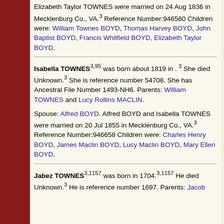Elizabeth Taylor TOWNES were married on 24 Aug 1836 in Mecklenburg Co., VA.3 Reference Number:946560 Children were: William Townes BOYD, Thomas Harvey BOYD, John Baptist BOYD, Francis Whitfield BOYD, Elizabeth Taylor BOYD.
Isabella TOWNES3,95 was born about 1819 in .3 She died Unknown.3 She is reference number 54708. She has Ancestral File Number 1493-NH6. Parents: William TOWNES and Lucy Rollins MACLIN.
Spouse: Alfred BOYD. Alfred BOYD and Isabella TOWNES were married on 20 Jul 1855 in Mecklenburg Co., VA.3 Reference Number:946658 Children were: Charles Henry BOYD, James Maclin BOYD, Lucy Maclin BOYD, Mary Ellen BOYD.
Jabez TOWNES3,1157 was born in 1704.3,1157 He died Unknown.3 He is reference number 1697. Parents: Jacob...